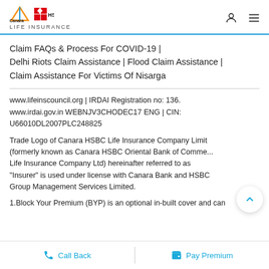Canara HSBC Life Insurance — header with logo, user icon, menu icon
Claim FAQs & Process For COVID-19 | Delhi Riots Claim Assistance | Flood Claim Assistance | Claim Assistance For Victims Of Nisarga
www.lifeinscouncil.org | IRDAI Registration no: 136. www.irdai.gov.in WEBNJV3CHODEC17 ENG | CIN: U66010DL2007PLC248825
Trade Logo of Canara HSBC Life Insurance Company Limited (formerly known as Canara HSBC Oriental Bank of Commerce Life Insurance Company Ltd) hereinafter referred to as "Insurer" is used under license with Canara Bank and HSBC Group Management Services Limited.
1.Block Your Premium (BYP) is an optional in-built cover and can
Call Back | Pay Premium